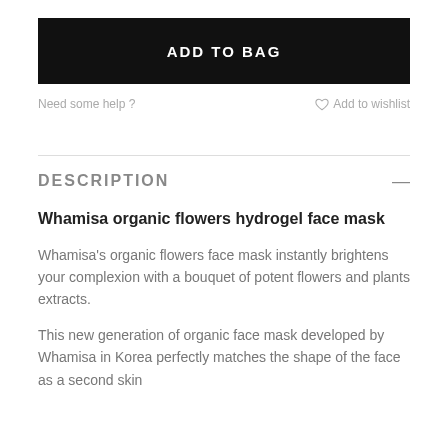ADD TO BAG
Need some help ?
Add to wishlist
DESCRIPTION
Whamisa organic flowers hydrogel face mask
Whamisa's organic flowers face mask instantly brightens your complexion with a bouquet of potent flowers and plants extracts.
This new generation of organic face mask developed by Whamisa in Korea perfectly matches the shape of the face as a second skin